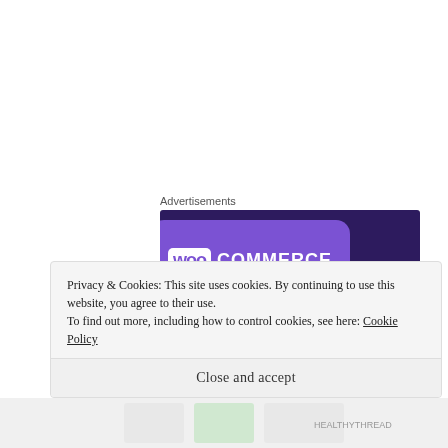Advertisements
[Figure (illustration): WooCommerce advertisement banner with purple background, WooCommerce logo, teal triangle shape, blue circle, and tagline 'Turn your hobby into']
Privacy & Cookies: This site uses cookies. By continuing to use this website, you agree to their use.
To find out more, including how to control cookies, see here: Cookie Policy
Close and accept